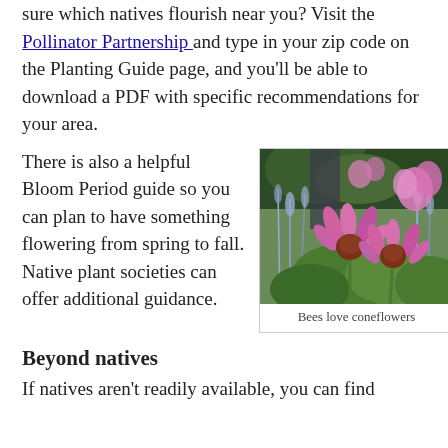sure which natives flourish near you? Visit the Pollinator Partnership and type in your zip code on the Planting Guide page, and you'll be able to download a PDF with specific recommendations for your area.
There is also a helpful Bloom Period guide so you can plan to have something flowering from spring to fall. Native plant societies can offer additional guidance.
[Figure (photo): Colorful garden with pink coneflowers (Echinacea), lavender-blue Russian sage, and other flowering plants with green foliage in the background.]
Bees love coneflowers
Beyond natives
If natives aren't readily available, you can find